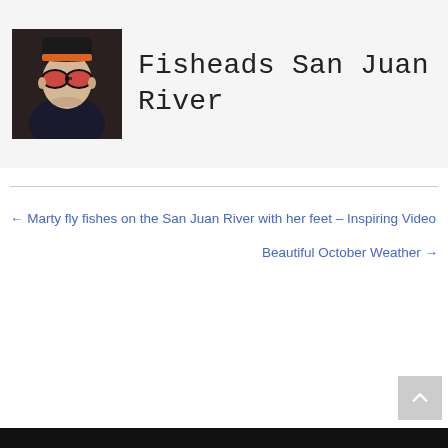[Figure (illustration): Stylized/illustrated portrait of a person wearing sunglasses and an orange hat, shown as avatar image]
Fisheads San Juan River
← Marty fly fishes on the San Juan River with her feet – Inspiring Video
Beautiful October Weather →